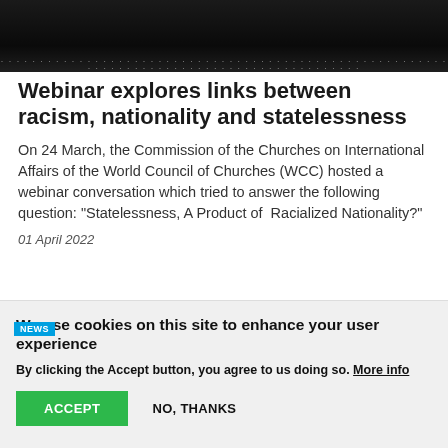[Figure (photo): Dark/black image with faint white text or light particles visible at the bottom edge, appearing like a night sky or distant text]
Webinar explores links between racism, nationality and statelessness
On 24 March, the Commission of the Churches on International Affairs of the World Council of Churches (WCC) hosted a webinar conversation which tried to answer the following question: “Statelessness, A Product of  Racialized Nationality?”
01 April 2022
[Figure (photo): Partial dark image with a blue NEWS badge label and a partially visible face at the right edge]
We use cookies on this site to enhance your user experience
By clicking the Accept button, you agree to us doing so. More info
ACCEPT   NO, THANKS